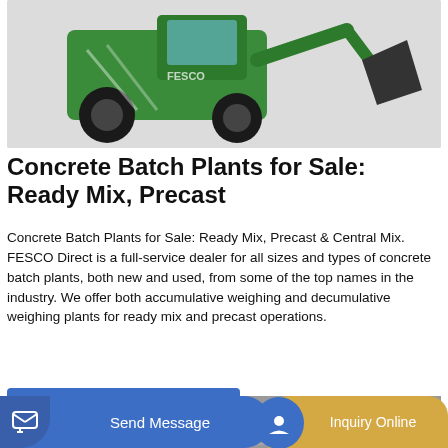[Figure (photo): Green front-end loader / wheel loader construction machine with a large bucket, shown on a light gray background.]
Concrete Batch Plants for Sale: Ready Mix, Precast
Concrete Batch Plants for Sale: Ready Mix, Precast & Central Mix. FESCO Direct is a full-service dealer for all sizes and types of concrete batch plants, both new and used, from some of the top names in the industry. We offer both accumulative weighing and decumulative weighing plants for ready mix and precast operations.
[Figure (photo): Bottom partial image strip showing industrial/concrete plant equipment in grayscale.]